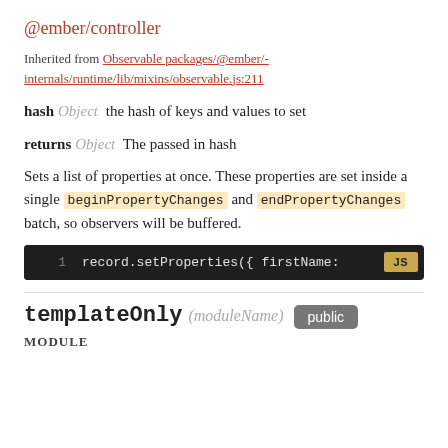@ember/controller
Inherited from Observable packages/@ember/-internals/runtime/lib/mixins/observable.js:211
hash Object  the hash of keys and values to set
returns Object  The passed in hash
Sets a list of properties at once. These properties are set inside a single beginPropertyChanges and endPropertyChanges batch, so observers will be buffered.
[Figure (screenshot): Code block showing: 1  record.setProperties({ firstName: with JS badge]
templateOnly (moduleName) public
MODULE